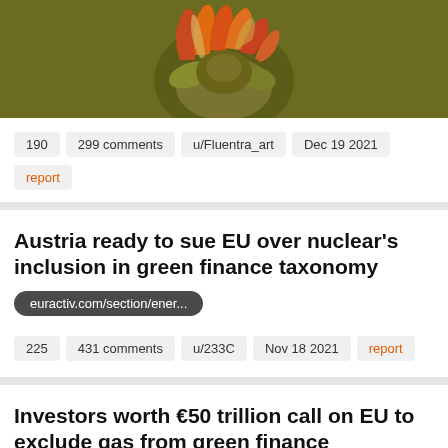[Figure (illustration): Colorful artistic illustration on olive/dark green background showing abstract creature or figure with orange, red and yellow elements]
190   299 comments   u/Fluentra_art   Dec 19 2021
report
Austria ready to sue EU over nuclear's inclusion in green finance taxonomy
euractiv.com/section/ener...
225   431 comments   u/233C   Nov 18 2021   report
Investors worth €50 trillion call on EU to exclude gas from green finance taxonomy
euractiv.com/section/ener...